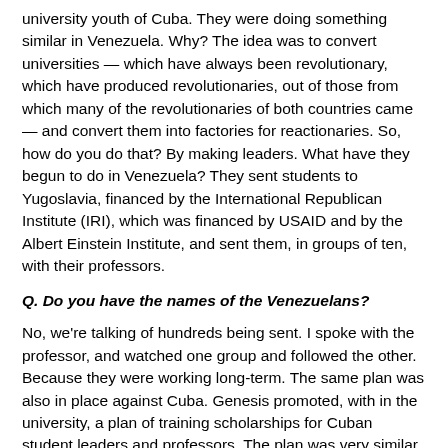university youth of Cuba. They were doing something similar in Venezuela. Why? The idea was to convert universities — which have always been revolutionary, which have produced revolutionaries, out of those from which many of the revolutionaries of both countries came — and convert them into factories for reactionaries. So, how do you do that? By making leaders. What have they begun to do in Venezuela? They sent students to Yugoslavia, financed by the International Republican Institute (IRI), which was financed by USAID and by the Albert Einstein Institute, and sent them, in groups of ten, with their professors.
Q. Do you have the names of the Venezuelans?
No, we're talking of hundreds being sent. I spoke with the professor, and watched one group and followed the other. Because they were working long-term. The same plan was also in place against Cuba. Genesis promoted, with in the university, a plan of training scholarships for Cuban student leaders and professors. The plan was very similar. Also, in 2003, they prepared here, in Havana, a course in the US Interests Section, which was called "Deposing a leader, deposing a dictator", which was based on the experience of OTPOR in removing Slobodan Milosevic from power. And that was the idea, inside the Cuban university, to work long-term, because these projects always